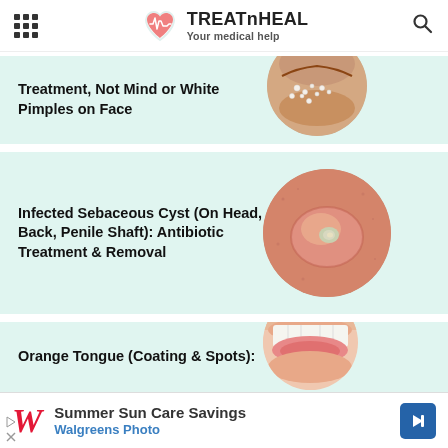TREATnHEAL — Your medical help
Treatment, Not Mind of White Pimples on Face
[Figure (photo): Close-up of cheek/under-eye area showing small white pimples on skin]
Infected Sebaceous Cyst (On Head, Back, Penile Shaft): Antibiotic Treatment & Removal
[Figure (photo): Close-up of an infected sebaceous cyst on skin, round raised bump with white center]
Orange Tongue (Coating & Spots):
[Figure (photo): Close-up of mouth showing teeth and tongue area]
[Figure (screenshot): Advertisement: Summer Sun Care Savings — Walgreens Photo]